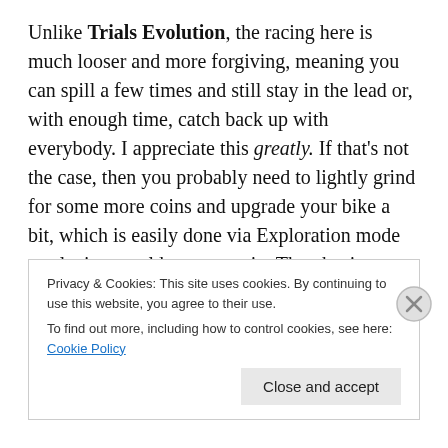Unlike Trials Evolution, the racing here is much looser and more forgiving, meaning you can spill a few times and still stay in the lead or, with enough time, catch back up with everybody. I appreciate this greatly. If that's not the case, then you probably need to lightly grind for some more coins and upgrade your bike a bit, which is easily done via Exploration mode or playing an older race again. The physics are not entirely arcade-ish, as landing after a jump or trick does require you to maintain some balance or skid out, and you eventually are able to ride behind
Privacy & Cookies: This site uses cookies. By continuing to use this website, you agree to their use.
To find out more, including how to control cookies, see here: Cookie Policy
Close and accept